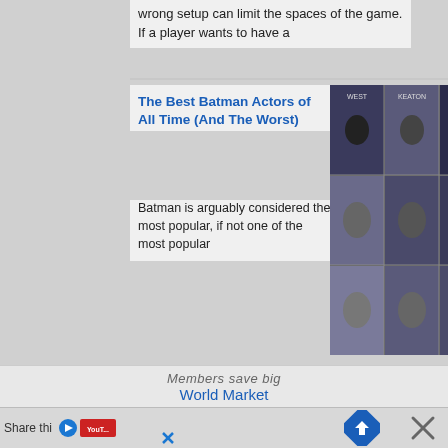wrong setup can limit the spaces of the game. If a player wants to have a
The Best Batman Actors of All Time (And The Worst)
Batman is arguably considered the most popular, if not one of the most popular
[Figure (photo): Grid of Batman actors including West, Keaton, Kilmer, Clooney, Bale, and others]
25 Best Rocket League Video Settings That Give You An Advantage
I believe everyone should play like a winner, and the best ways to do
[Figure (screenshot): Rocket League video settings options screen]
[Top 10] Rocket League Best Exotic Wheels That Look Freakin' Awesome
My first thought the first time I played Rocket League?  Well, my brain
[Figure (photo): Orange Rocket League car with colorful exotic wheel with pixel/LED display design on grass]
Members save big
World Market